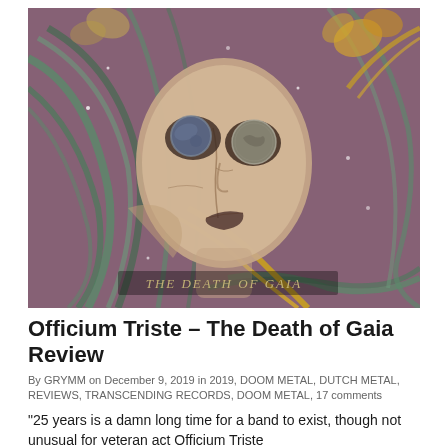[Figure (illustration): Album artwork for 'The Death of Gaia' by Officium Triste — stylized illustration of a female figure with coins over her eyes, green flowing hair with floral elements, gold swirling lines, on a purple/mauve background. Text 'THE DEATH OF GAIA' visible at the bottom of the image.]
Officium Triste – The Death of Gaia Review
By GRYMM on December 9, 2019 in 2019, DOOM METAL, DUTCH METAL, REVIEWS, TRANSCENDING RECORDS, DOOM METAL, 17 comments
"25 years is a damn long time for a band to exist, though not unusual for veteran act Officium Triste